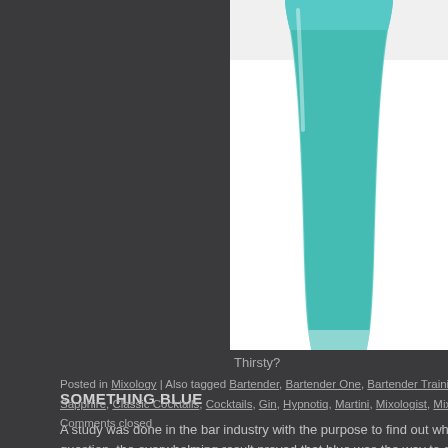[Figure (photo): A teal/turquoise colored cocktail drink in a clear glass, photographed on a white background, cropped so only the top and middle portion of the glass is visible.]
Thirsty?
SOMETHING BLUE
A study was done in the bar industry with the purpose to find out what colour is question, the overwhelming result proved that blue was the way to go. As a bar Banana Popsicle martini, or a Blue cosmo, without fail someone will see it and drink".
Posted in Mixology | Also tagged Bartender, Bartender One, Bartender Training, Barte Sapphire, Classic Cocktails, Cocktails, Gin, Hypnotiq, Martini, Mixologist, Mixology, Ru Comments closed